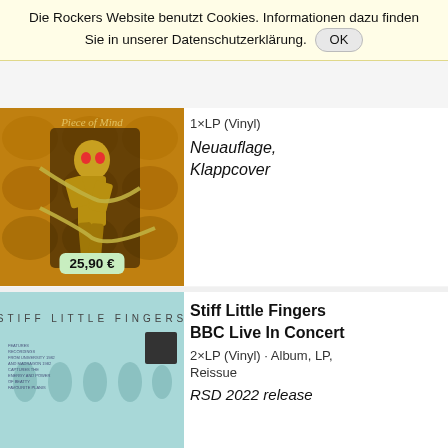Die Rockers Website benutzt Cookies. Informationen dazu finden Sie in unserer Datenschutzerklärung. OK
[Figure (photo): Iron Maiden Piece of Mind album cover — skeleton figure in chains on golden padded background. Price badge showing 25,90 €]
1×LP (Vinyl)
Neuauflage, Klappcover
[Figure (photo): Stiff Little Fingers BBC Live In Concert album cover — light blue background with hand silhouettes spelling STIFF LITTLE FINGERS]
Stiff Little Fingers BBC Live In Concert
2×LP (Vinyl) · Album, LP, Reissue
RSD 2022 release